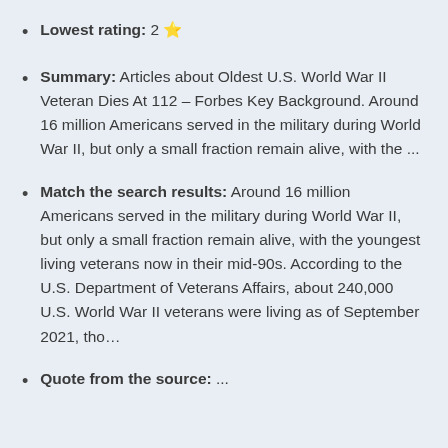Lowest rating: 2 ⭐
Summary: Articles about Oldest U.S. World War II Veteran Dies At 112 – Forbes Key Background. Around 16 million Americans served in the military during World War II, but only a small fraction remain alive, with the ...
Match the search results: Around 16 million Americans served in the military during World War II, but only a small fraction remain alive, with the youngest living veterans now in their mid-90s. According to the U.S. Department of Veterans Affairs, about 240,000 U.S. World War II veterans were living as of September 2021, tho…
Quote from the source: ...